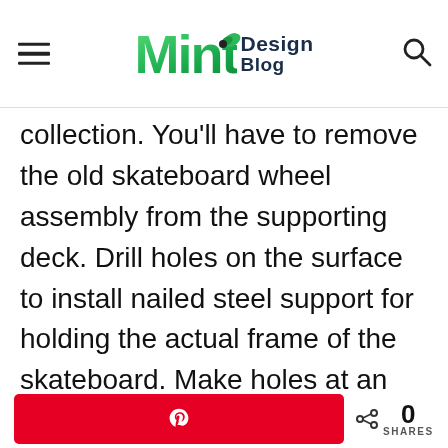Mint Design Blog
collection. You'll have to remove the old skateboard wheel assembly from the supporting deck. Drill holes on the surface to install nailed steel support for holding the actual frame of the skateboard. Make holes at an exact deck alignment and connect steel braces with repurposed skateboard using nuts and bolts.
Pinterest share button · 0 SHARES